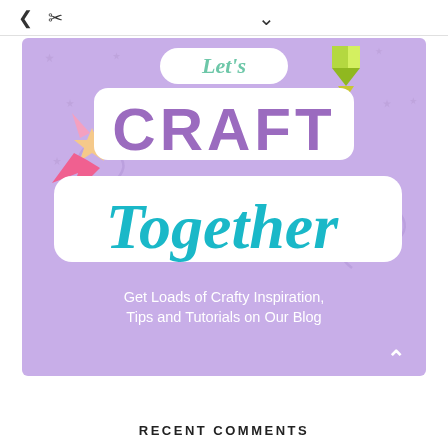< share  v
[Figure (illustration): Promotional banner image for a crafting blog. Purple/lavender background with stars and swirl decorations. Text reads 'Let's CRAFT Together' with decorative sticker-style white outlines. Subtitle: 'Get Loads of Crafty Inspiration, Tips and Tutorials on Our Blog'. Decorative shooting stars and pencil in corners.]
RECENT COMMENTS